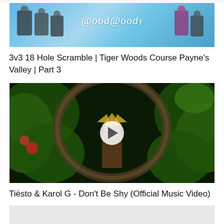[Figure (screenshot): Video thumbnail for Good Good golf channel showing group of people with 'Good Good' logo text on blue background]
3v3 18 Hole Scramble | Tiger Woods Course Payne's Valley | Part 3
[Figure (screenshot): Video thumbnail for Tiësto & Karol G music video showing a person in jungle/Aztec themed setting with play button overlay]
Tiësto & Karol G - Don't Be Shy (Official Music Video)
[Figure (screenshot): Partially visible third video thumbnail, mostly white/light gray]